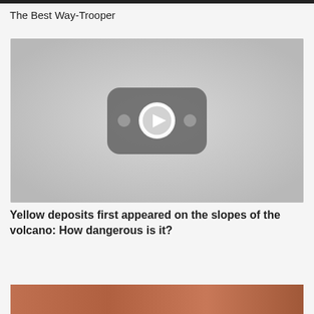The Best Way-Trooper
[Figure (screenshot): Video thumbnail placeholder with a YouTube-style play button icon centered on a gray background]
Yellow deposits first appeared on the slopes of the volcano: How dangerous is it?
[Figure (photo): Partial photo visible at the bottom of the page, appears to show warm orange/brown tones]